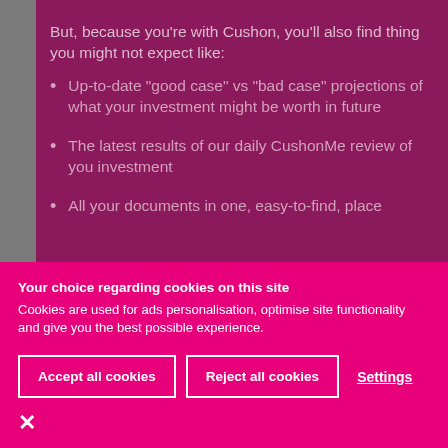But, because you're with Cushon, you'll also find thing you might not expect like:
Up-to-date "good case" vs "bad case" projections of what your investment might be worth in future
The latest results of our daily CushonMe review of you investment
All your documents in one, easy-to-find, place
Your choice regarding cookies on this site
Cookies are used for ads personalisation, optimise site functionality and give you the best possible experience.